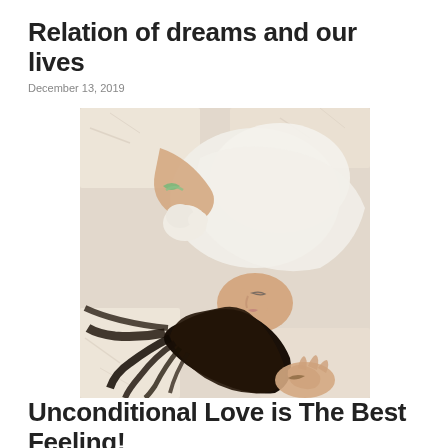Relation of dreams and our lives
December 13, 2019
[Figure (photo): Overhead view of a young woman with dark hair lying on a white fluffy rug, wearing a white shirt, eyes closed, with a small white fluffy item near her hand, and a bracelet on her wrist.]
Unconditional Love is The Best Feeling!